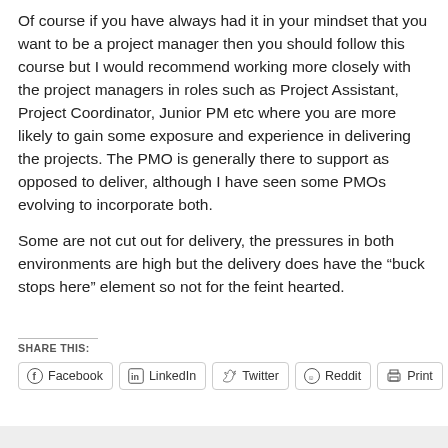Of course if you have always had it in your mindset that you want to be a project manager then you should follow this course but I would recommend working more closely with the project managers in roles such as Project Assistant, Project Coordinator, Junior PM etc where you are more likely to gain some exposure and experience in delivering the projects. The PMO is generally there to support as opposed to deliver, although I have seen some PMOs evolving to incorporate both.
Some are not cut out for delivery, the pressures in both environments are high but the delivery does have the “buck stops here” element so not for the feint hearted.
SHARE THIS: